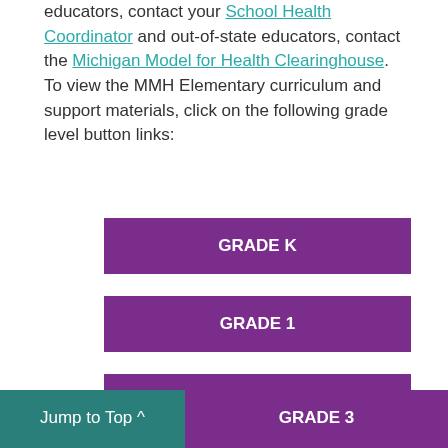educators, contact your School Health Coordinator and out-of-state educators, contact the Michigan Model for Health Clearinghouse. To view the MMH Elementary curriculum and support materials, click on the following grade level button links:
GRADE K
GRADE 1
GRADE 2
Jump to Top
GRADE 3